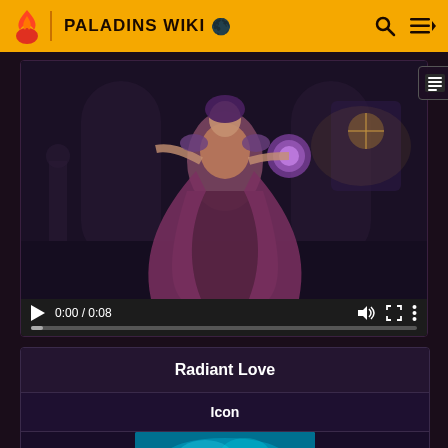PALADINS WIKI
[Figure (screenshot): Video player showing a female game character in purple robes holding a glowing orb, in a cathedral-like setting. Controls show 0:00 / 0:08.]
| Radiant Love |
| --- |
| Icon |
| [image] |